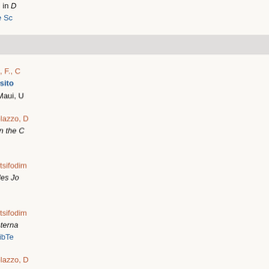Processing in the Cloud", in D Hall/CRC}, 2014. Google Sc
Conference Paper
A. Aranda-Andújar, Bugiotti, F., C "AMADA: Web Data Reposito Knowledge Management, Maui, U
J. Camacho-Rodriguez, Colazzo, D DMC - Data Management in the C BibTeX
J. Camacho-Rodriguez, Katsifodim Redistribution", in Actes des Jo Scholar  BibTeX
J. Camacho-Rodriguez, Katsifodim Redistribution", in ACM Interna 2010.    Google Scholar  BibTe
J. Camacho-Rodriguez, Colazzo, D